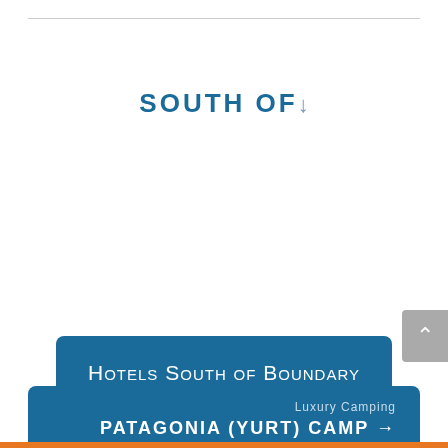SOUTH OF↓
Hotels South of Boundary Lines of Torres del Paine National Park
Luxury Camping
PATAGONIA (YURT) CAMP →